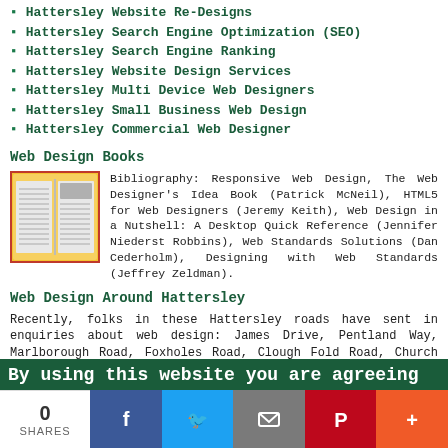Hattersley Website Re-Designs
Hattersley Search Engine Optimization (SEO)
Hattersley Search Engine Ranking
Hattersley Website Design Services
Hattersley Multi Device Web Designers
Hattersley Small Business Web Design
Hattersley Commercial Web Designer
Web Design Books
[Figure (illustration): Open book illustration with orange/yellow cover]
Bibliography: Responsive Web Design, The Web Designer's Idea Book (Patrick McNeil), HTML5 for Web Designers (Jeremy Keith), Web Design in a Nutshell: A Desktop Quick Reference (Jennifer Niederst Robbins), Web Standards Solutions (Dan Cederholm), Designing with Web Standards (Jeffrey Zeldman).
Web Design Around Hattersley
Recently, folks in these Hattersley roads have sent in enquiries about web design: James Drive, Pentland Way, Marlborough Road, Foxholes Road, Clough Fold Road, Church Avenue, Redgate, Wrigley Square, Hillcrest, Rosemount
By using this website you are agreeing
0 SHARES